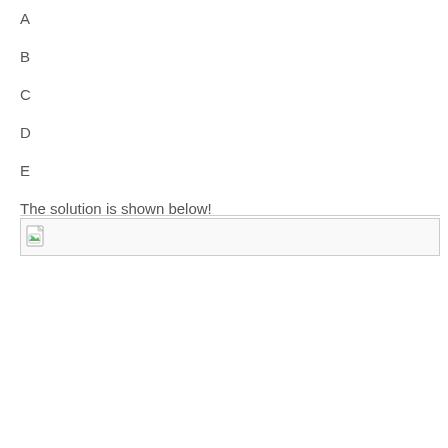A
B
C
D
E
The solution is shown below!
[Figure (other): Broken image placeholder showing a small icon with a page and green/blue image symbol]